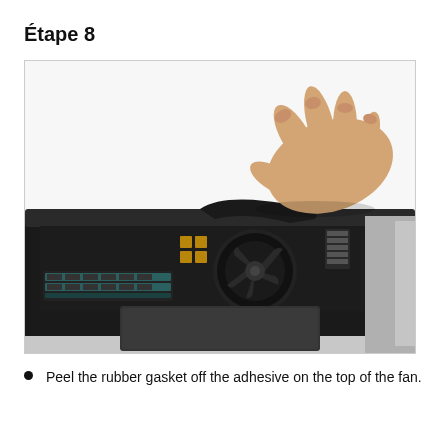Étape 8
[Figure (photo): A hand peeling a rubber gasket off the fan of a MacBook Air logic board. The interior of the laptop is visible with the fan, SSD, trackpad, and various components on the motherboard. The rubber gasket is being lifted from the top of the fan using fingers.]
Peel the rubber gasket off the adhesive on the top of the fan.